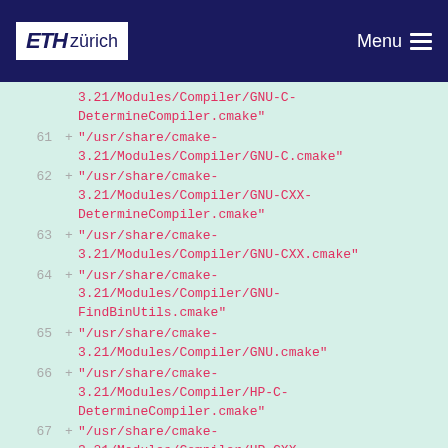ETH zürich — Menu
3.21/Modules/Compiler/GNU-C-DetermineCompiler.cmake"
61 + "/usr/share/cmake-3.21/Modules/Compiler/GNU-C.cmake"
62 + "/usr/share/cmake-3.21/Modules/Compiler/GNU-CXX-DetermineCompiler.cmake"
63 + "/usr/share/cmake-3.21/Modules/Compiler/GNU-CXX.cmake"
64 + "/usr/share/cmake-3.21/Modules/Compiler/GNU-FindBinUtils.cmake"
65 + "/usr/share/cmake-3.21/Modules/Compiler/GNU.cmake"
66 + "/usr/share/cmake-3.21/Modules/Compiler/HP-C-DetermineCompiler.cmake"
67 + "/usr/share/cmake-3.21/Modules/Compiler/HP-CXX-DetermineCompiler.cmake"